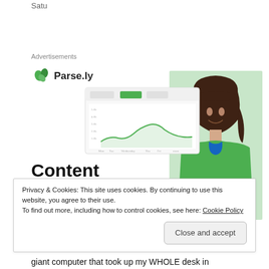Satu
Advertisements
[Figure (screenshot): Parse.ly advertisement featuring a dashboard analytics screenshot and a smiling woman in a green sweater, with bold headline 'Content Analytics Made Easy']
Privacy & Cookies: This site uses cookies. By continuing to use this website, you agree to their use.
To find out more, including how to control cookies, see here: Cookie Policy
Close and accept
giant computer that took up my WHOLE desk in